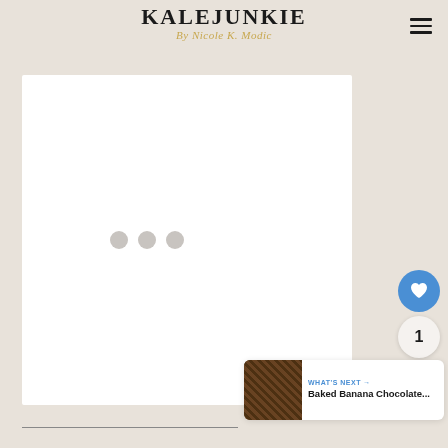KALEJUNKIE By Nicole K. Modic
[Figure (photo): White/blank image placeholder with three gray loading dots in the center, indicating an image is loading]
[Figure (other): Blue circular heart/like button, count badge showing '1', and gray circular share button on right side]
[Figure (screenshot): What's Next widget showing thumbnail of baked banana chocolate item with text 'WHAT'S NEXT → Baked Banana Chocolate...']